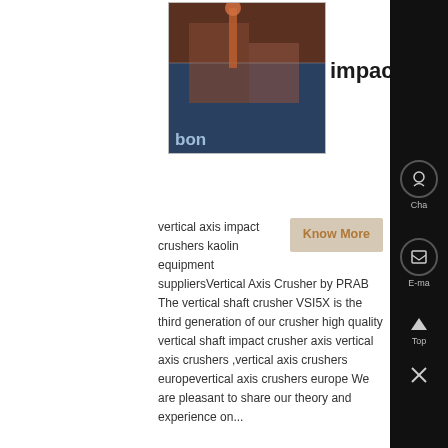[Figure (photo): Industrial construction/factory photo with worker, reddish-brown tones, text overlay showing 'bon']
impact crusher vertical axis
vertical axis impact crushers kaolin equipment suppliersVertical Axis Crusher by PRAB The vertical shaft crusher VSI5X is the third generation of our crusher high quality vertical shaft impact crusher axis vertical axis crushers ,vertical axis crushers europevertical axis crushers europe We are pleasant to share our theory and experience on...
[Figure (photo): Industrial machinery/conveyor system photo with dark green and grey tones]
vertical crusher part list pdf